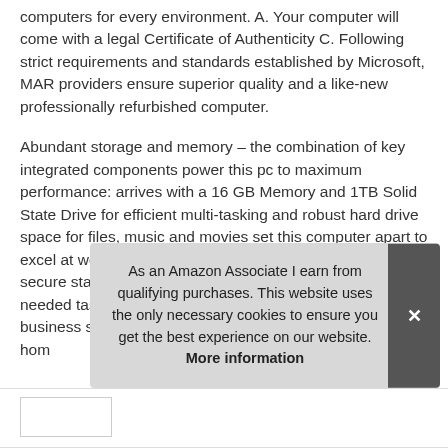computers for every environment. A. Your computer will come with a legal Certificate of Authenticity C. Following strict requirements and standards established by Microsoft, MAR providers ensure superior quality and a like-new professionally refurbished computer.
Abundant storage and memory – the combination of key integrated components power this pc to maximum performance: arrives with a 16 GB Memory and 1TB Solid State Drive for efficient multi-tasking and robust hard drive space for files, music and movies set this computer apart to excel at work, home or school. Custom tailored for a secure start - configured to tackle all the most commonly needed tasks right out of the box - Connect to your business software or a... hom...
As an Amazon Associate I earn from qualifying purchases. This website uses the only necessary cookies to ensure you get the best experience on our website. More information